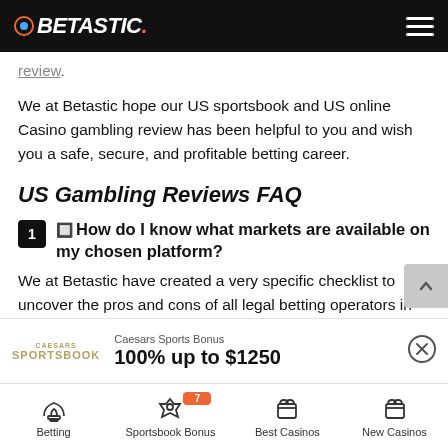BETASTIC.
review.
We at Betastic hope our US sportsbook and US online Casino gambling review has been helpful to you and wish you a safe, secure, and profitable betting career.
US Gambling Reviews FAQ
1. How do I know what markets are available on my chosen platform?
We at Betastic have created a very specific checklist to uncover the pros and cons of all legal betting operators in
Caesars Sports Bonus
100% up to $1250
Betting | Sportsbook Bonus 7 | Best Casinos | New Casinos